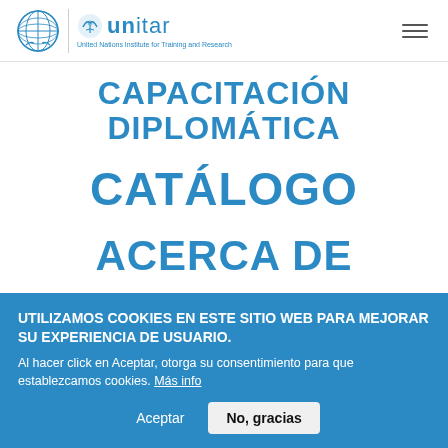UNITAR — United Nations Institute for Training and Research
CAPACITACIÓN DIPLOMÁTICA
CATÁLOGO
ACERCA DE
UTILIZAMOS COOKIES EN ESTE SITIO WEB PARA MEJORAR SU EXPERIENCIA DE USUARIO. Al hacer click en Aceptar, otorga su consentimiento para que establezcamos cookies. Más info
Aceptar | No, gracias